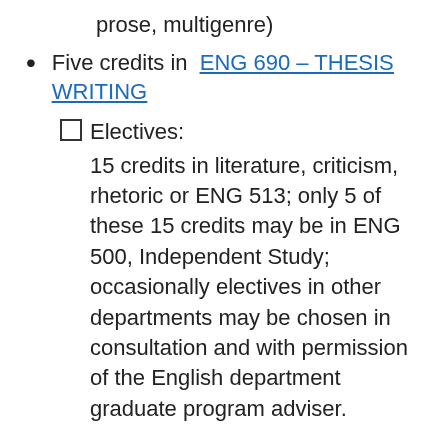prose, multigenre)
Five credits in ENG 690 - THESIS WRITING
☐ Electives:
15 credits in literature, criticism, rhetoric or ENG 513; only 5 of these 15 credits may be in ENG 500, Independent Study; occasionally electives in other departments may be chosen in consultation and with permission of the English department graduate program adviser.